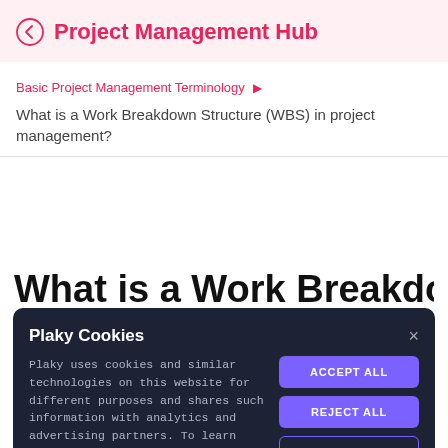Project Management Hub
Basic Project Management Terminology ▶
What is a Work Breakdown Structure (WBS) in project management?
What is a Work Breakdown
Plaky Cookies
Plaky uses cookies and similar technologies on this website for different purposes and shares such information with analytics and advertising partners. To learn more about our use of cookies, please see our Cookie Policy. You may select cookies via Cookie settings.
ACCEPT ALL
REJECT ALL
COOKIE SETTINGS